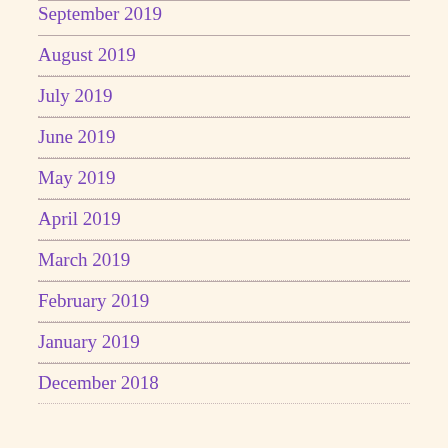September 2019
August 2019
July 2019
June 2019
May 2019
April 2019
March 2019
February 2019
January 2019
December 2018